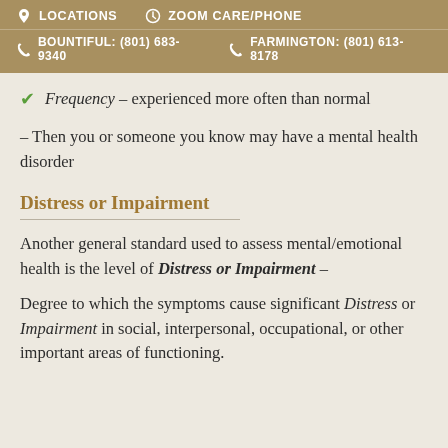LOCATIONS  ZOOM CARE/PHONE  BOUNTIFUL: (801) 683-9340  FARMINGTON: (801) 613-8178
Frequency – experienced more often than normal
– Then you or someone you know may have a mental health disorder
Distress or Impairment
Another general standard used to assess mental/emotional health is the level of Distress or Impairment –
Degree to which the symptoms cause significant Distress or Impairment in social, interpersonal, occupational, or other important areas of functioning.